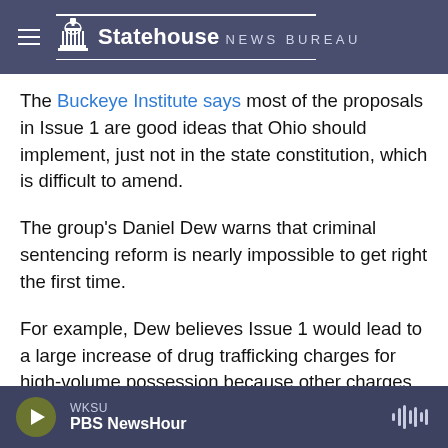Statehouse NEWS BUREAU
The Buckeye Institute says most of the proposals in Issue 1 are good ideas that Ohio should implement, just not in the state constitution, which is difficult to amend.
The group's Daniel Dew warns that criminal sentencing reform is nearly impossible to get right the first time.
For example, Dew believes Issue 1 would lead to a large increase of drug trafficking charges for high-volume possession because other charges would be dropped, which could get expensive for the
WKSU
PBS NewsHour